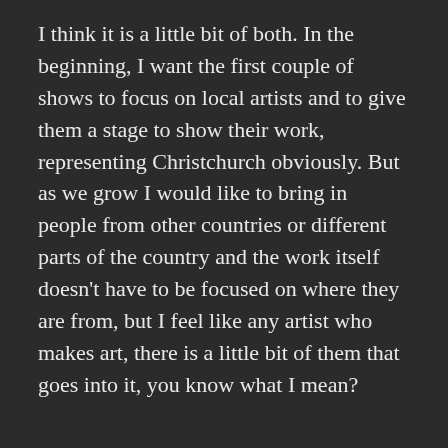I think it is a little bit of both. In the beginning, I want the first couple of shows to focus on local artists and to give them a stage to show their work, representing Christchurch obviously. But as we grow I would like to bring in people from other countries or different parts of the country and the work itself doesn't have to be focused on where they are from, but I feel like any artist who makes art, there is a little bit of them that goes into it, you know what I mean?
That creates an interesting platform, what people or spaces have informed the gallery's identity, because that idea of community might share a kinship with certain types of